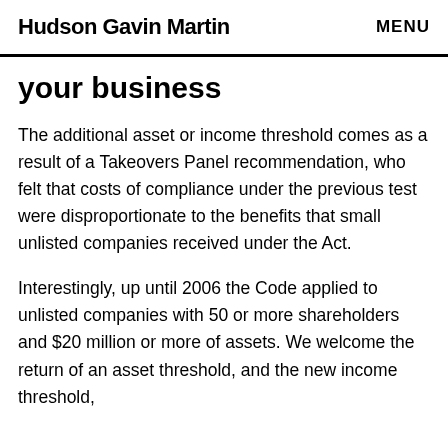Hudson Gavin Martin | MENU
your business
The additional asset or income threshold comes as a result of a Takeovers Panel recommendation, who felt that costs of compliance under the previous test were disproportionate to the benefits that small unlisted companies received under the Act.
Interestingly, up until 2006 the Code applied to unlisted companies with 50 or more shareholders and $20 million or more of assets. We welcome the return of an asset threshold, and the new income threshold, and...